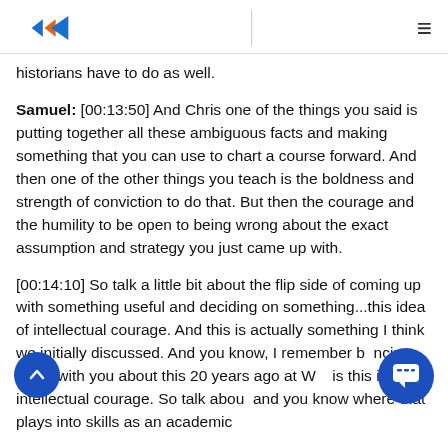Logo and navigation header
historians have to do as well.
Samuel: [00:13:50] And Chris one of the things you said is putting together all these ambiguous facts and making something that you can use to chart a course forward. And then one of the other things you teach is the boldness and strength of conviction to do that. But then the courage and the humility to be open to being wrong about the exact assumption and strategy you just came up with.
[00:14:10] So talk a little bit about the flip side of coming up with something useful and deciding on something...this idea of intellectual courage. And this is actually something I think we initially discussed. And you know, I remember bouncing ideas with you about this 20 years ago at W... is this idea of intellectual courage. So talk abou... and you know where that plays into skills as an academic